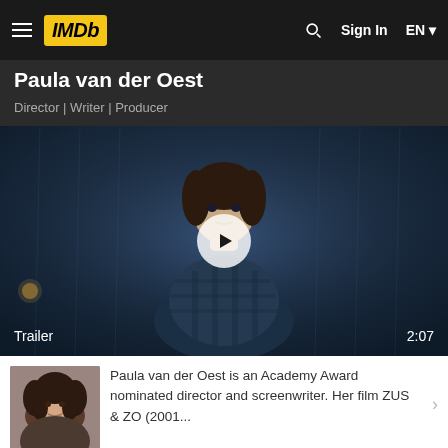IMDb — Sign In EN
Paula van der Oest
Director | Writer | Producer
[Figure (screenshot): Video thumbnail showing a young girl in a plaid shirt looking forward, with a play button overlay. Labels: 'Trailer' on the bottom left and '2:07' on the bottom right.]
[Figure (photo): Small portrait photo of Paula van der Oest, a woman with dark curly hair.]
Paula van der Oest is an Academy Award nominated director and screenwriter. Her film ZUS & ZO (2001...